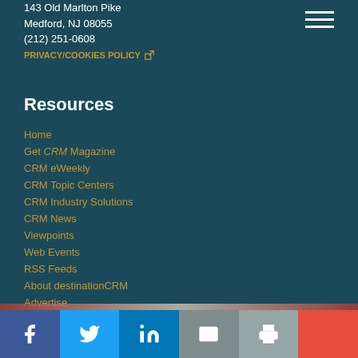143 Old Marlton Pike
Medford, NJ 08055
(212) 251-0608
PRIVACY/COOKIES POLICY
Resources
Home
Get CRM Magazine
CRM eWeekly
CRM Topic Centers
CRM Industry Solutions
CRM News
Viewpoints
Web Events
RSS Feeds
About destinationCRM
Advertise
Getting Covered
Report Problems
Contact Us
Social share bar: Facebook, Twitter, LinkedIn, Email, Print, More